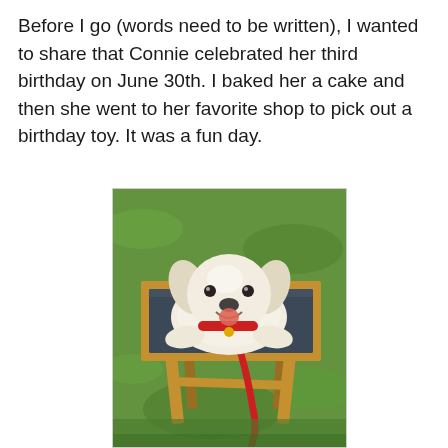Before I go (words need to be written), I wanted to share that Connie celebrated her third birthday on June 30th. I baked her a cake and then she went to her favorite shop to pick out a birthday toy. It was a fun day.
[Figure (photo): A small white fluffy dog (Shih Tzu) lying on a dark navy blue padded stool/table with a wooden frame, on green grass. The dog is smiling and wearing a red leash.]